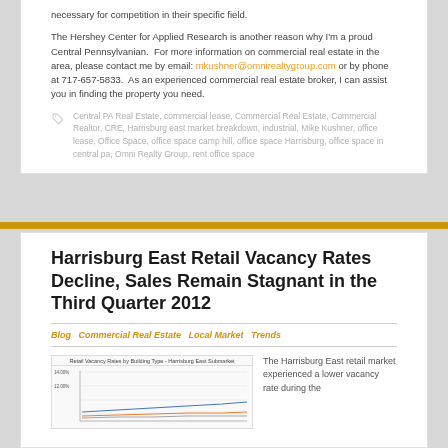necessary for competition in their specific field.
The Hershey Center for Applied Research is another reason why I'm a proud Central Pennsylvanian.  For more information on commercial real estate in the area, please contact me by email: mkushner@omnirealtygroup.com or by phone at 717-657-5833.  As an experienced commercial real estate broker, I can assist you in finding the property you need.
Central PA Real Estate, commercial lease, Commercial Real Estate, Commercial Realtor, CRE, Harrisburg east market breakdown, industrial, Mike Kushner, office lease, Office Space, office space camp hill, office space Harrisburg, office space in central pa, Omni Realty Group, rent office space
Harrisburg East Retail Vacancy Rates Decline, Sales Remain Stagnant in the Third Quarter 2012
Blog  Commercial Real Estate  Local Market  Trends
[Figure (line-chart): Line chart showing retail vacancy rates by building type for Harrisburg East Submarket, y-axis from 0% to 14%]
The Harrisburg East retail market experienced a lower vacancy rate during the